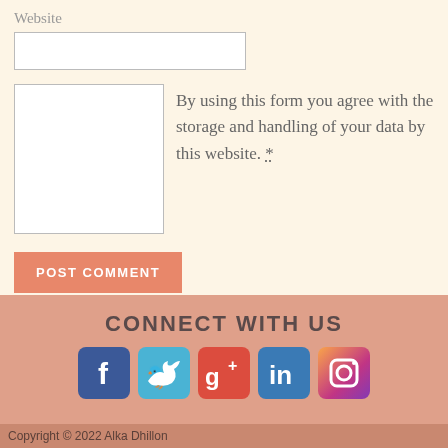Website
By using this form you agree with the storage and handling of your data by this website. *
POST COMMENT
CONNECT WITH US
[Figure (infographic): Social media icons: Facebook (blue), Twitter (light blue), Google+ (red), LinkedIn (teal-blue), Instagram (gradient)]
Copyright © 2022 Alka Dhillon